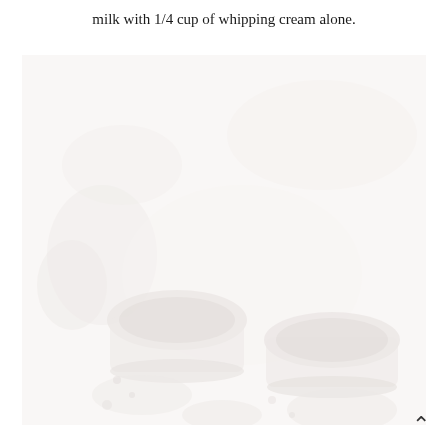milk with 1/4 cup of whipping cream alone.
[Figure (photo): A very faded/washed-out photograph showing bowls of food (appears to be desserts or puddings in white ramekins/cups) along with other dishes and ingredients arranged on a surface, rendered in very light pastel tones.]
^